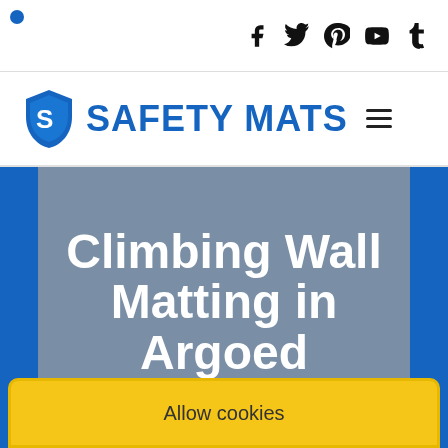Social icons: Facebook, Twitter, Pinterest, YouTube, Tumblr
[Figure (logo): Safety Mats logo with shield icon and blue text 'SAFETY MATS' and hamburger menu icon]
Climbing Wall Matting in Argoed
Enquire Today For A Free No Obligation Quote
[Figure (other): Green call-to-action button (partially visible)]
Allow cookies